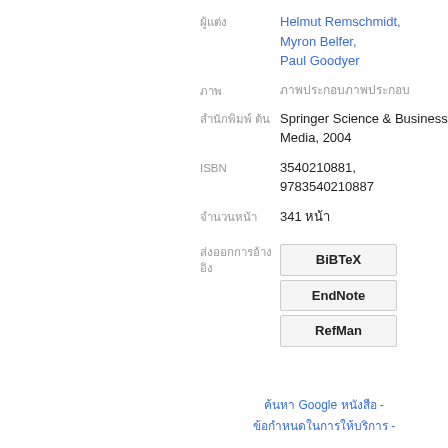ผู้แต่ง: Helmut Remschmidt, Myron Belfer, Paul Goodyer
ฉบับ: ภาพประกอบ
สำนักพิมพ์ ต้น: Springer Science & Business Media, 2004
ISBN: 3540210881, 9783540210887
จำนวนหน้า: 341 หน้า
ส่งออกการอ้างอิง: BiBTeX, EndNote, RefMan
ค้นหา Google หนังสือ - ข้อกำหนดในการให้บริการ -